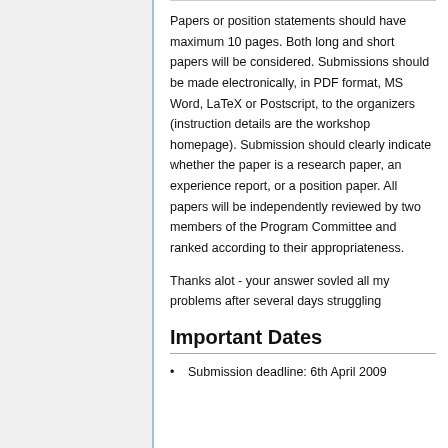Papers or position statements should have maximum 10 pages. Both long and short papers will be considered. Submissions should be made electronically, in PDF format, MS Word, LaTeX or Postscript, to the organizers (instruction details are the workshop homepage). Submission should clearly indicate whether the paper is a research paper, an experience report, or a position paper. All papers will be independently reviewed by two members of the Program Committee and ranked according to their appropriateness.
Thanks alot - your answer sovled all my problems after several days struggling
Important Dates
Submission deadline: 6th April 2009